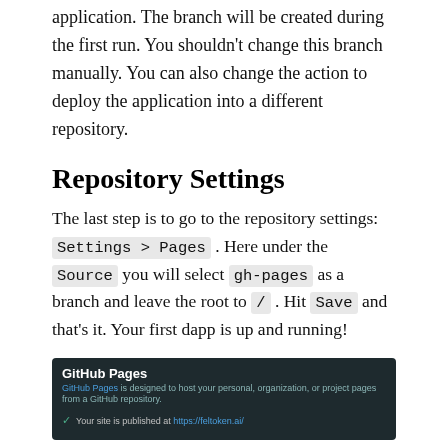application. The branch will be created during the first run. You shouldn't change this branch manually. You can also change the action to deploy the application into a different repository.
Repository Settings
The last step is to go to the repository settings: Settings > Pages . Here under the Source you will select gh-pages as a branch and leave the root to / . Hit Save and that's it. Your first dapp is up and running!
[Figure (screenshot): GitHub Pages settings panel screenshot showing dark background with title 'GitHub Pages', subtitle about hosting pages from a GitHub repository, and a success message 'Your site is published at https://feltoken.ai/']